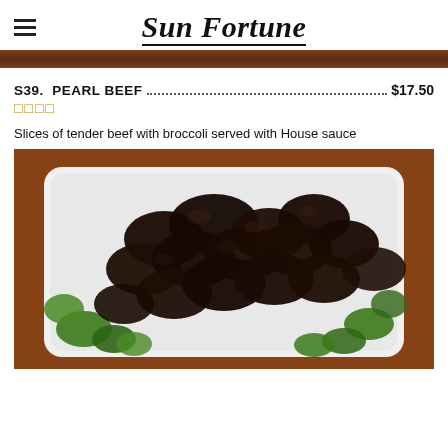Sun Fortune
S39. PEARL BEEF ... $17.50
□□□□
Slices of tender beef with broccoli served with House sauce
[Figure (photo): Photo of Pearl Beef dish: glazed dark beef pieces with broccoli in a white takeout container on a brown table]